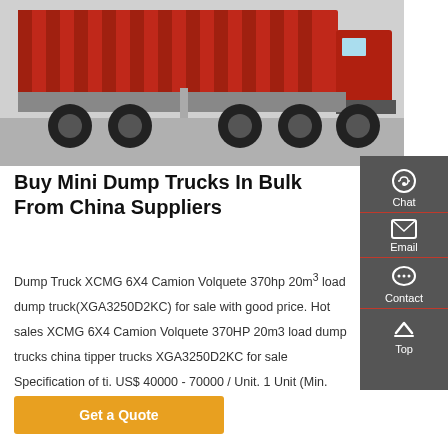[Figure (photo): Red dump truck (XCMG) photographed from the side on a paved lot, showing the large red dump bed and heavy-duty tires.]
Buy Mini Dump Trucks In Bulk From China Suppliers
Dump Truck XCMG 6X4 Camion Volquete 370hp 20m³ load dump truck(XGA3250D2KC) for sale with good price. Hot sales XCMG 6X4 Camion Volquete 370HP 20m3 load dump trucks china tipper trucks XGA3250D2KC for sale Specification of ti. US$ 40000 - 70000 / Unit. 1 Unit (Min. Order) Freight Cost Available
[Figure (infographic): Sidebar with Chat, Email, Contact, and Top icons on dark grey background with red dividers]